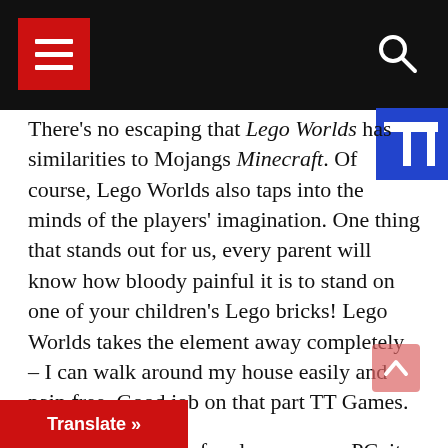Navigation header with menu button and search icon
There's no escaping that Lego Worlds has similarities to Mojangs Minecraft. Of course, Lego Worlds also taps into the minds of the players' imagination. One thing that stands out for us, every parent will know how bloody painful it is to stand on one of your children's Lego bricks! Lego Worlds takes the element away completely – I can walk around my house easily and pain free. Good job on that part TT Games.

Having two years of early access on PC, it allowed TT Games to work on the title we now have on Xbox One & PlayStation 4. What makes Lego Worlds slightly different from Minecraft is that the exploration is different. Lego Worlds offers more worlds or biomes to visit within one g…inecraft is one large world with only the